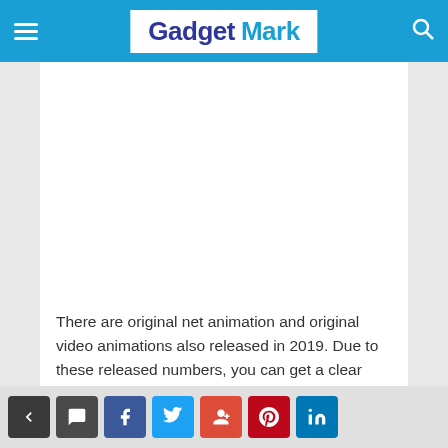Gadget Mark
[Figure (other): Advertisement placeholder area (white rectangle)]
There are original net animation and original video animations also released in 2019. Due to these released numbers, you can get a clear idea of how people love to watch anime movies and TV series. But most of them watch on a free streaming website like Gogoanime, where regular updates
< comment f t G+ Pinterest in